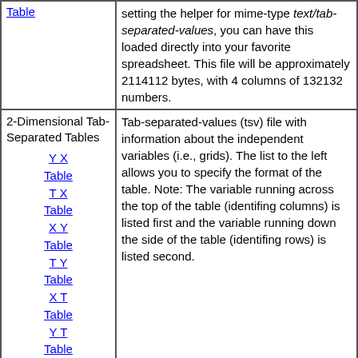| Table | setting the helper for mime-type text/tab-separated-values, you can have this loaded directly into your favorite spreadsheet. This file will be approximately 2114112 bytes, with 4 columns of 132132 numbers. |
| 2-Dimensional Tab-Separated Tables
Y X Table
T X Table
X Y Table
T Y Table
X T Table
Y T Table | Tab-separated-values (tsv) file with information about the independent variables (i.e., grids). The list to the left allows you to specify the format of the table. Note: The variable running across the top of the table (identifing columns) is listed first and the variable running down the side of the table (identifing rows) is listed second. |